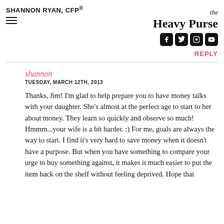SHANNON RYAN, CFP®
[Figure (logo): The Heavy Purse logo with social media icons for Facebook, Twitter, Instagram, and YouTube]
REPLY
shannon
TUESDAY, MARCH 12TH, 2013
Thanks, Jim! I'm glad to help prepare you to have money talks with your daughter. She's almost at the perfect age to start to her about money. They learn so quickly and observe so much! Hmmm...your wife is a bit harder. :) For me, goals are always the way to start. I find it's very hard to save money when it doesn't have a purpose. But when you have something to compare your urge to buy something against, it makes it much easier to put the item back on the shelf without feeling deprived. Hope that